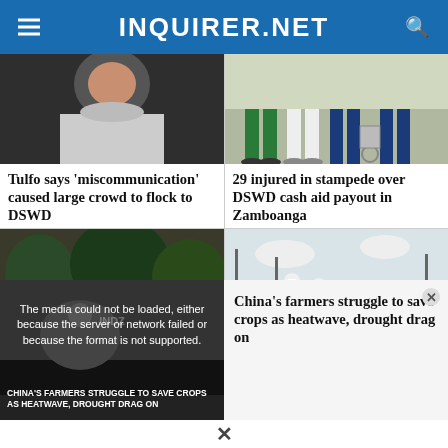INQUIRER.NET
[Figure (photo): Close-up photo of a person's face, partially visible]
[Figure (photo): People's legs and feet visible, green pants, outdoor setting with cart]
Tulfo says 'miscommunication' caused large crowd to flock to DSWD
29 injured in stampede over DSWD cash aid payout in Zamboanga
[Figure (photo): Large crowd of people gathered outdoors]
[Figure (photo): Construction workers in orange vests and white hard hats walking along a road]
Teachers group was...
House energy committee...
[Figure (screenshot): Video player showing message: The media could not be loaded, either because the server or network failed or because the format is not supported. Video title: CHINA'S FARMERS STRUGGLE TO SAVE CROPS AS HEATWAVE, DROUGHT DRAG ON]
China's farmers struggle to save crops as heatwave, drought drag on